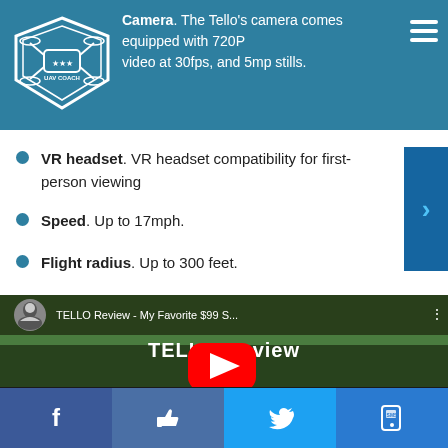Camera. The Tello's camera comes equipped with 720P video at 30fps, and 5mp stills.
VR headset. VR headset compatibility for first-person viewing
Speed. Up to 17mph.
Flight radius. Up to 300 feet.
[Figure (screenshot): YouTube video thumbnail for 'TELLO Review - My Favorite $99 S...' showing a drone on a landing pad with grass background and red YouTube play button]
Social share bar with Facebook, Like, Twitter, and SMS buttons